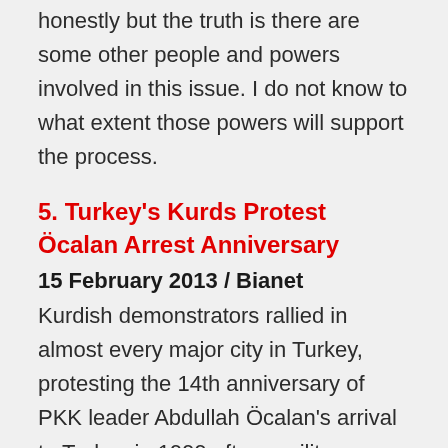honestly but the truth is there are some other people and powers involved in this issue. I do not know to what extent those powers will support the process.
5. Turkey's Kurds Protest Öcalan Arrest Anniversary
15 February 2013 / Bianet
Kurdish demonstrators rallied in almost every major city in Turkey, protesting the 14th anniversary of PKK leader Abdullah Öcalan's arrival to Turkey in 1999 after a military operation led by the U.S. Local businesses except pharmacies and bakeries were reportedly kept shut in Diyarbakır, Mardin, Urfa, Batman, Şırnak, Van, Hakkeri, Ağrı, Muş, Kars, Iğdır, Adana,